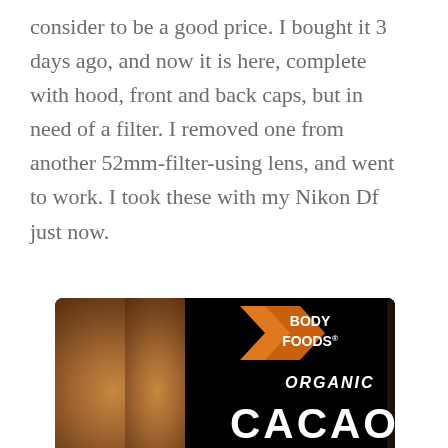consider to be a good price. I bought it 3 days ago, and now it is here, complete with hood, front and back caps, but in need of a filter. I removed one from another 52mm-filter-using lens, and went to work. I took these with my Nikon Df just now.
[Figure (photo): A close-up photograph of a Body Foods Organic Cacao product package. The package has a dark brown label with white text reading 'BODY FOODS', 'ORGANIC', and 'CACAO' along with an orange arrow/chevron logo. On the left side, there is a blurred textured food item (granola or cacao nibs) in warm brown tones.]